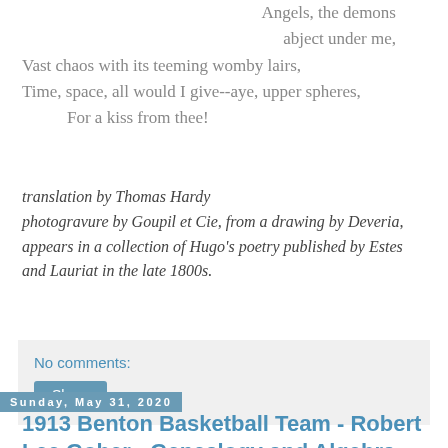Angels, the demons abject under me,
Vast chaos with its teeming womby lairs,
Time, space, all would I give--aye, upper spheres,
    For a kiss from thee!
translation by Thomas Hardy photogravure by Goupil et Cie, from a drawing by Deveria, appears in a collection of Hugo's poetry published by Estes and Lauriat in the late 1800s.
No comments:
Share
Sunday, May 31, 2020
1913 Benton Basketball Team - Robert Lee Gober - Genealogy and Algebra